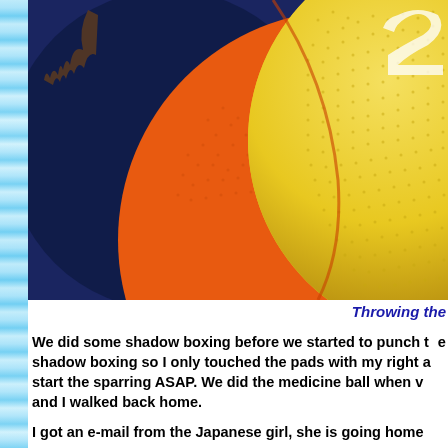[Figure (photo): Close-up photo of an orange and yellow medicine ball / basketball on a dark blue surface, with a hint of a hand or feet in the upper left corner. The ball appears textured with a white logo/text visible at the top right.]
Throwing the
We did some shadow boxing before we started to punch the pads. We did shadow boxing so I only touched the pads with my right a... start the sparring ASAP. We did the medicine ball when v... and I walked back home.
I got an e-mail from the Japanese girl, she is going home...